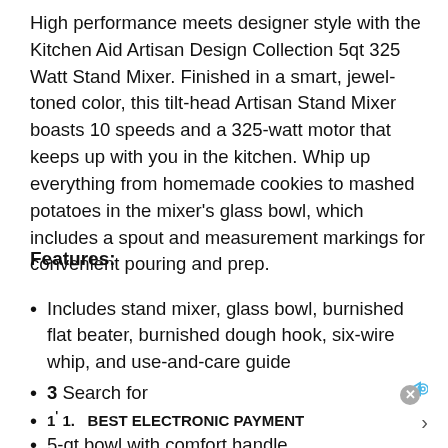High performance meets designer style with the Kitchen Aid Artisan Design Collection 5qt 325 Watt Stand Mixer. Finished in a smart, jewel-toned color, this tilt-head Artisan Stand Mixer boasts 10 speeds and a 325-watt motor that keeps up with you in the kitchen. Whip up everything from homemade cookies to mashed potatoes in the mixer's glass bowl, which includes a spout and measurement markings for convenient pouring and prep.
Features:
Includes stand mixer, glass bowl, burnished flat beater, burnished dough hook, six-wire whip, and use-and-care guide
3 Search for
1'  1.    BEST ELECTRONIC PAYMENT
5-qt bowl with comfort handle